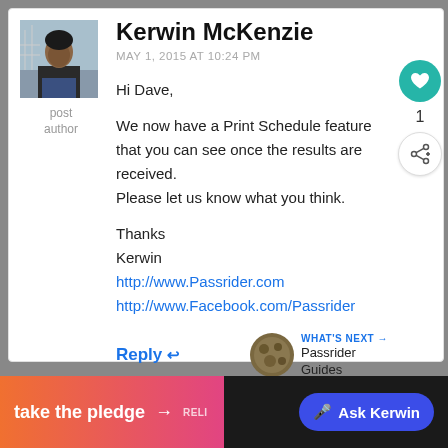[Figure (photo): Profile photo of Kerwin McKenzie, a man standing outdoors]
post author
Kerwin McKenzie
MAY 1, 2015 AT 10:24 PM
Hi Dave,

We now have a Print Schedule feature that you can see once the results are received.
Please let us know what you think.

Thanks
Kerwin
http://www.Passrider.com
http://www.Facebook.com/Passrider
Reply ↩
WHAT'S NEXT → Passrider Guides
take the pledge → 🎤 Ask Kerwin